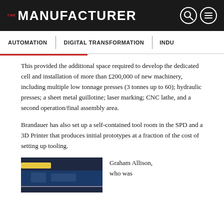THE MANUFACTURER
AUTOMATION | DIGITAL TRANSFORMATION | INDU...
This provided the additional space required to develop the dedicated cell and installation of more than £200,000 of new machinery, including multiple low tonnage presses (3 tonnes up to 60); hydraulic presses; a sheet metal guillotine; laser marking; CNC lathe, and a second operation/final assembly area.
Brandauer has also set up a self-contained tool room in the SPD and a 3D Printer that produces initial prototypes at a fraction of the cost of setting up tooling.
[Figure (photo): Partial photo of manufacturing equipment]
Graham Allison, who was